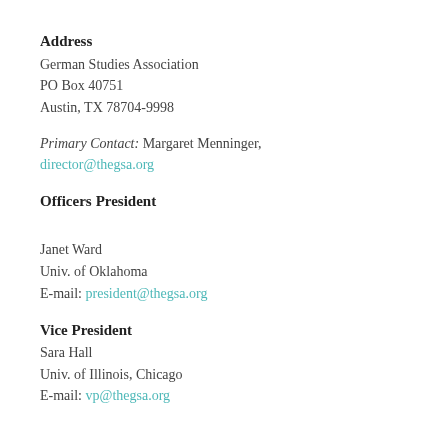Address
German Studies Association
PO Box 40751
Austin, TX 78704-9998
Primary Contact: Margaret Menninger, director@thegsa.org
Officers
President
Janet Ward
Univ. of Oklahoma
E-mail: president@thegsa.org
Vice President
Sara Hall
Univ. of Illinois, Chicago
E-mail: vp@thegsa.org